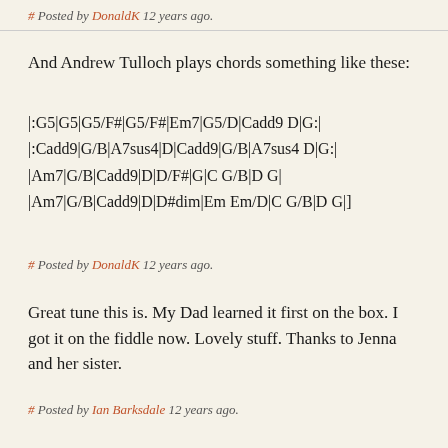# Posted by DonaldK 12 years ago.
And Andrew Tulloch plays chords something like these:
|:G5|G5|G5/F#|G5/F#|Em7|G5/D|Cadd9 D|G:|
|:Cadd9|G/B|A7sus4|D|Cadd9|G/B|A7sus4 D|G:|
|Am7|G/B|Cadd9|D|D/F#|G|C G/B|D G|
|Am7|G/B|Cadd9|D|D#dim|Em Em/D|C G/B|D G|]
# Posted by DonaldK 12 years ago.
Great tune this is. My Dad learned it first on the box. I got it on the fiddle now. Lovely stuff. Thanks to Jenna and her sister.
# Posted by Ian Barksdale 12 years ago.